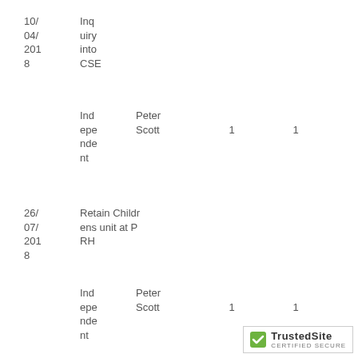| Date | Type | Name | Col1 | Col2 |
| --- | --- | --- | --- | --- |
| 10/04/2018 | Inquiry into CSE |  |  |  |
|  | Independent | Peter Scott | 1 | 1 |
| 26/07/2018 | Retain Childrens unit at PRH |  |  |  |
|  | Independent | Peter Scott | 1 | 1 |
[Figure (logo): TrustedSite Certified Secure badge]